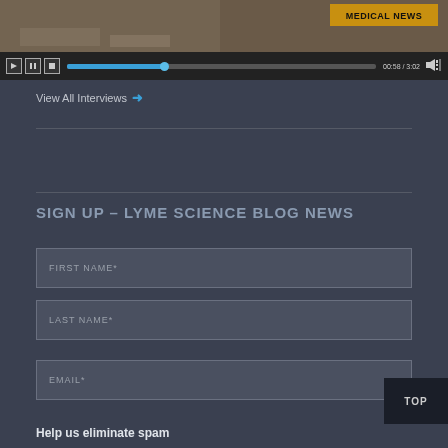[Figure (screenshot): Video player showing a medical news interview. Controls bar with play/pause/stop buttons, blue progress bar at 00:58/3:02, volume icon. 'MEDICAL NEWS' badge visible in upper right of video.]
View All Interviews →
SIGN UP – LYME SCIENCE BLOG NEWS
FIRST NAME*
LAST NAME*
EMAIL*
TOP
Help us eliminate spam